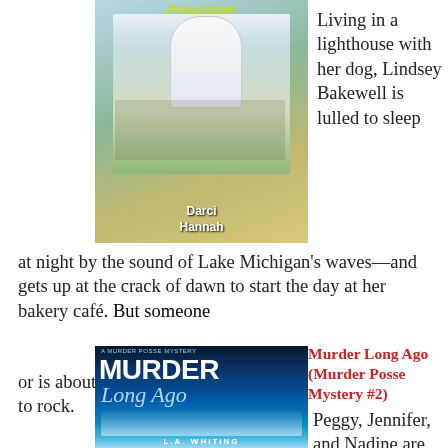[Figure (illustration): Book cover illustration showing a lighthouse festival scene with food, a black dog, tent, and lake in background. Author: Darci Hannah. Title shown in green italic text at top.]
Living in a lighthouse with her dog, Lindsey Bakewell is lulled to sleep at night by the sound of Lake Michigan's waves—and gets up at the crack of dawn to start the day at her bakery café. But someone is about to rock
Murder Long Ago (Murder Posse Mystery #2)
[Figure (illustration): Book cover for 'Murder Long Ago' — A Murder Posse Mystery. Dark blue night sky with moon over water and dock. Author: L.A. Whiting.]
Peggy, Jennifer, and Nadine are three smart, middle-aged women who